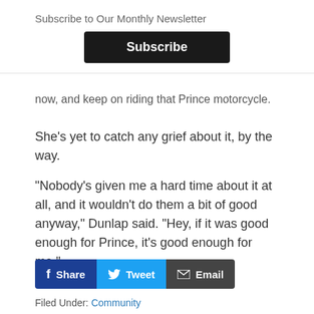Subscribe to Our Monthly Newsletter
[Figure (other): Black Subscribe button]
now, and keep on riding that Prince motorcycle.
She's yet to catch any grief about it, by the way.
"Nobody's given me a hard time about it at all, and it wouldn't do them a bit of good anyway," Dunlap said. "Hey, if it was good enough for Prince, it's good enough for me."
[Figure (infographic): Social share buttons: Share (Facebook), Tweet (Twitter), Email]
Filed Under: Community